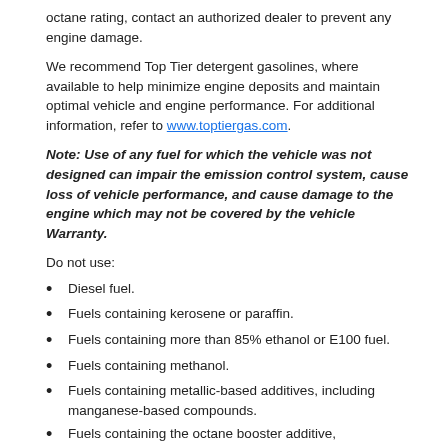octane rating, contact an authorized dealer to prevent any engine damage.
We recommend Top Tier detergent gasolines, where available to help minimize engine deposits and maintain optimal vehicle and engine performance. For additional information, refer to www.toptiergas.com.
Note: Use of any fuel for which the vehicle was not designed can impair the emission control system, cause loss of vehicle performance, and cause damage to the engine which may not be covered by the vehicle Warranty.
Do not use:
Diesel fuel.
Fuels containing kerosene or paraffin.
Fuels containing more than 85% ethanol or E100 fuel.
Fuels containing methanol.
Fuels containing metallic-based additives, including manganese-based compounds.
Fuels containing the octane booster additive, methylcyclopentadienyl manganese tricarbonyl (MMT).
Leaded fuel, using leaded fuel is prohibited by law.
The use of fuels with metallic compounds such as methylcyclopentadienyl manganese tricarbonyl (commonly known as